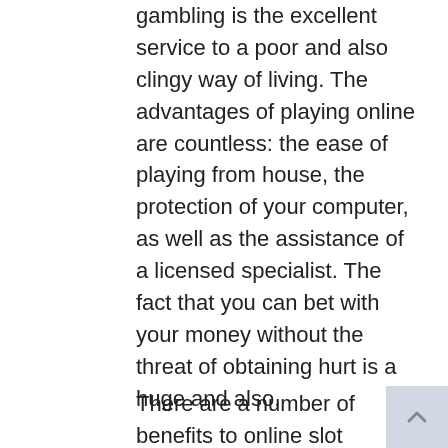gambling is the excellent service to a poor and also clingy way of living. The advantages of playing online are countless: the ease of playing from house, the protection of your computer, as well as the assistance of a licensed specialist. The fact that you can bet with your money without the threat of obtaining hurt is a huge and also.
There are a number of benefits to online slot gambling. The safety of the video game is the primary benefit. In Indonesia, gambling is legal, so you do not have to stress over the laws. The most effective location to play is a qualified internet site. Its customer assistance services are readily available all the time. These are the 3 crucial consider an on-line gambling